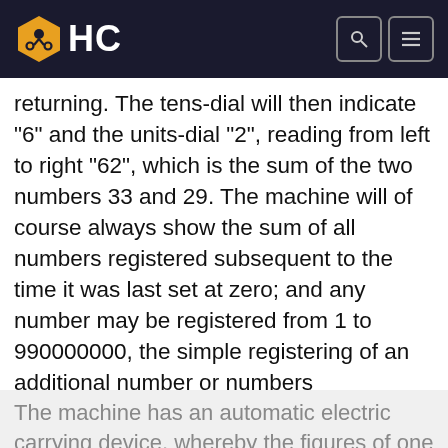HC
returning. The tens-dial will then indicate "6" and the units-dial "2", reading from left to right "62", which is the sum of the two numbers 33 and 29. The machine will of course always show the sum of all numbers registered subsequent to the time it was last set at zero; and any number may be registered from 1 to 990000000, the simple registering of an additional number or numbers immediately changing the reading on the dials to the sum of the number previously registered and the amount added by the last operation.
The machine has an automatic electric carrying device, whereby the figures of one arithmetical